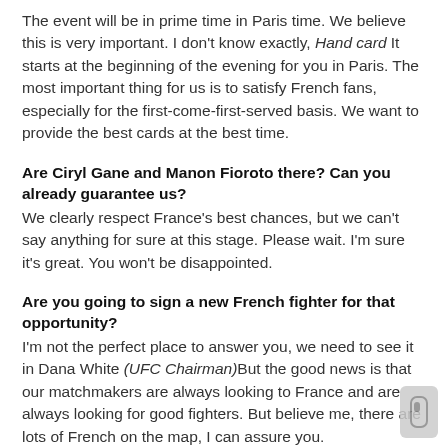The event will be in prime time in Paris time. We believe this is very important. I don't know exactly, Hand card It starts at the beginning of the evening for you in Paris. The most important thing for us is to satisfy French fans, especially for the first-come-first-served basis. We want to provide the best cards at the best time.
Are Ciryl Gane and Manon Fioroto there? Can you already guarantee us?
We clearly respect France's best chances, but we can't say anything for sure at this stage. Please wait. I'm sure it's great. You won't be disappointed.
Are you going to sign a new French fighter for that opportunity?
I'm not the perfect place to answer you, we need to see it in Dana White (UFC Chairman)But the good news is that our matchmakers are always looking to France and are always looking for good fighters. But believe me, there are lots of French on the map, I can assure you.